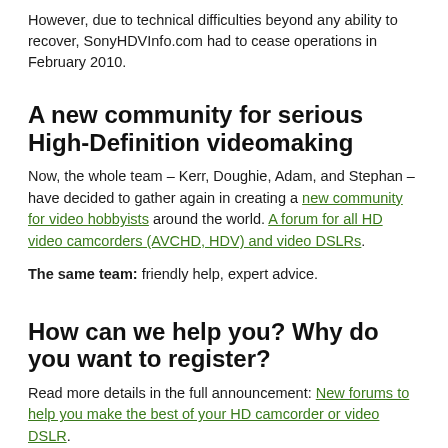However, due to technical difficulties beyond any ability to recover, SonyHDVInfo.com had to cease operations in February 2010.
A new community for serious High-Definition videomaking
Now, the whole team – Kerr, Doughie, Adam, and Stephan – have decided to gather again in creating a new community for video hobbyists around the world. A forum for all HD video camcorders (AVCHD, HDV) and video DSLRs.
The same team: friendly help, expert advice.
How can we help you? Why do you want to register?
Read more details in the full announcement: New forums to help you make the best of your HD camcorder or video DSLR.